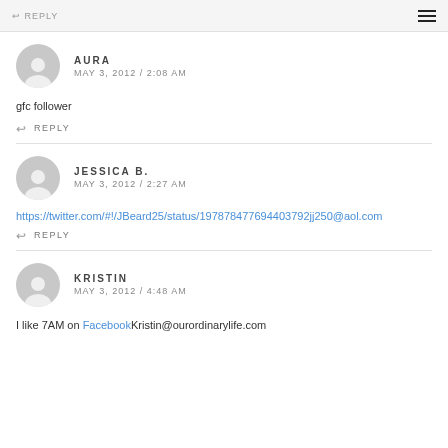REPLY
AURA
MAY 3, 2012 / 2:08 AM
gfc follower
REPLY
JESSICA B.
MAY 3, 2012 / 2:27 AM
https://twitter.com/#!/JBeard25/status/197878477694403792jj250@aol.com
REPLY
KRISTIN
MAY 3, 2012 / 4:48 AM
I like 7AM on FacebookKristin@ourordinarylife.com